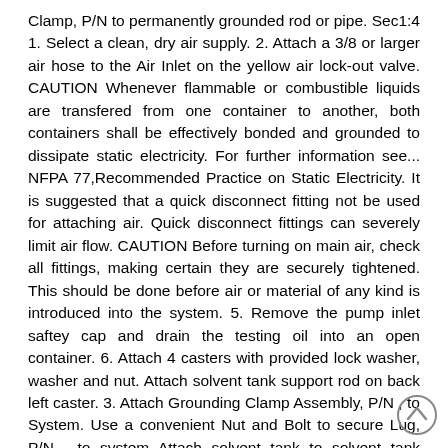Clamp, P/N to permanently grounded rod or pipe. Sec1:4 1. Select a clean, dry air supply. 2. Attach a 3/8 or larger air hose to the Air Inlet on the yellow air lock-out valve. CAUTION Whenever flammable or combustible liquids are transfered from one container to another, both containers shall be effectively bonded and grounded to dissipate static electricity. For further information see... NFPA 77,Recommended Practice on Static Electricity. It is suggested that a quick disconnect fitting not be used for attaching air. Quick disconnect fittings can severely limit air flow. CAUTION Before turning on main air, check all fittings, making certain they are securely tightened. This should be done before air or material of any kind is introduced into the system. 5. Remove the pump inlet saftey cap and drain the testing oil into an open container. 6. Attach 4 casters with provided lock washer, washer and nut. Attach solvent tank support rod on back left caster. 3. Attach Grounding Clamp Assembly, P/N , to System. Use a convenient Nut and Bolt to secure Lug, P/N , to system Attach solvent tank to solvent tank support rod with provided rubber strap.